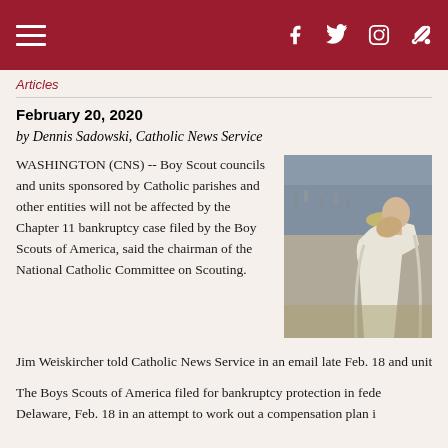Header bar with hamburger menu and social icons (Facebook, Twitter, Instagram, Feather/share)
Articles
February 20, 2020
by Dennis Sadowski, Catholic News Service
[Figure (photo): A priest in white vestments bowing or praying, with a large crowd of boy scouts in the background outdoors.]
WASHINGTON (CNS) -- Boy Scout councils and units sponsored by Catholic parishes and other entities will not be affected by the Chapter 11 bankruptcy case filed by the Boy Scouts of America, said the chairman of the National Catholic Committee on Scouting.
Jim Weiskircher told Catholic News Service in an email late Feb. 18 and units will continue "business as usual, while monitoring the si
The Boys Scouts of America filed for bankruptcy protection in fede Delaware, Feb. 18 in an attempt to work out a compensation plan i